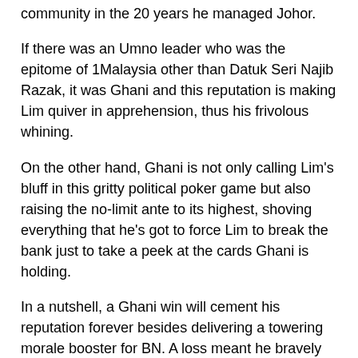community in the 20 years he managed Johor.
If there was an Umno leader who was the epitome of 1Malaysia other than Datuk Seri Najib Razak, it was Ghani and this reputation is making Lim quiver in apprehension, thus his frivolous whining.
On the other hand, Ghani is not only calling Lim's bluff in this gritty political poker game but also raising the no-limit ante to its highest, shoving everything that he's got to force Lim to break the bank just to take a peek at the cards Ghani is holding.
In a nutshell, a Ghani win will cement his reputation forever besides delivering a towering morale booster for BN. A loss meant he bravely took a hit for the party.
A Lim win is just that, a win that forced the Chinese voters into a Catch-22, just like Penangites did when they had to choose between Lim and Tan Sri Dr Lim Chong Eu in 1995. But a loss will result in opprobrium and, possibly, Lim